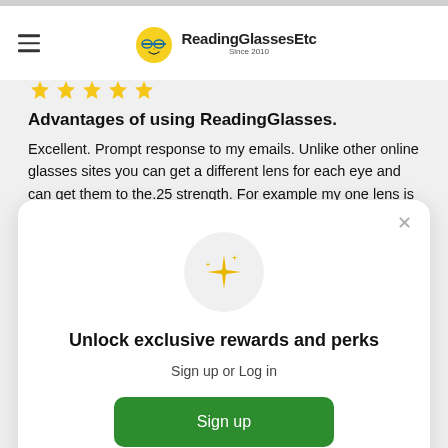ReadingGlassesEtc Since 2010
[Figure (other): Five golden star rating icons]
Advantages of using ReadingGlasses.
Excellent. Prompt response to my emails. Unlike other online glasses sites you can get a different lens for each eye and can get them to the.25 strength. For example my one lens is 2.25, the other is 1.25.Much better sight this
[Figure (other): Modal popup with sparkle icon, unlock exclusive rewards and perks message, sign up button and sign in link]
Unlock exclusive rewards and perks
Sign up or Log in
Sign up
Already have an account? Sign in